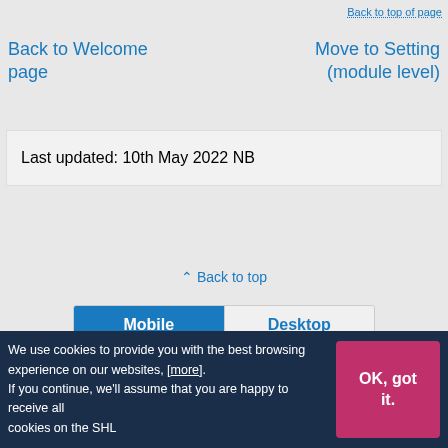Back to top of page
Back to Welcome page
Move to Setting (module level)
Last updated: 10th May 2022 NB
Back to top
Mobile
Desktop
We use cookies to provide you with the best browsing experience on our websites, [more]. If you continue, we'll assume that you are happy to receive all cookies on the SHL
OK, got it.